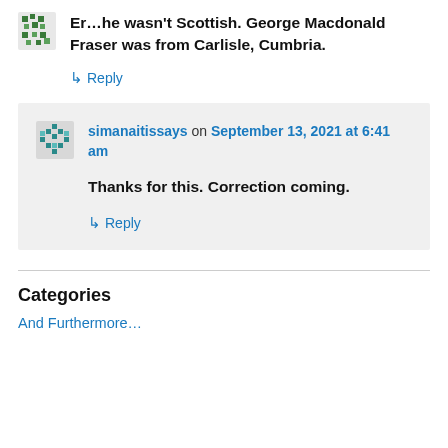Er…he wasn't Scottish. George Macdonald Fraser was from Carlisle, Cumbria.
↳ Reply
simanaitissays on September 13, 2021 at 6:41 am
Thanks for this. Correction coming.
↳ Reply
Categories
And Furthermore…